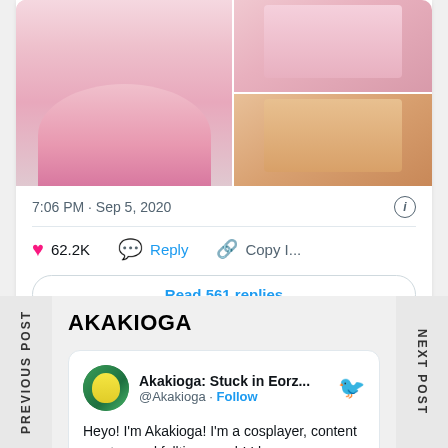[Figure (photo): Twitter post photo collage showing cosplayer in pink Princess Peach costume, three photos arranged in grid]
7:06 PM · Sep 5, 2020
62.2K  Reply  Copy I...
Read 561 replies
AKAKIOGA
[Figure (screenshot): Twitter profile card for Akakioga: Stuck in Eorz... @Akakioga with Follow button and Twitter bird icon]
Heyo! I'm Akakioga! I'm a cosplayer, content creator, and fulltime weeb! I love